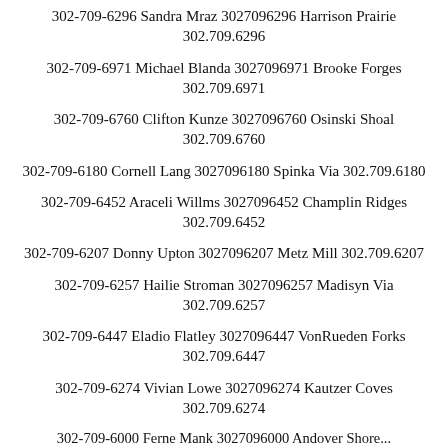302-709-6296 Sandra Mraz 3027096296 Harrison Prairie 302.709.6296
302-709-6971 Michael Blanda 3027096971 Brooke Forges 302.709.6971
302-709-6760 Clifton Kunze 3027096760 Osinski Shoal 302.709.6760
302-709-6180 Cornell Lang 3027096180 Spinka Via 302.709.6180
302-709-6452 Araceli Willms 3027096452 Champlin Ridges 302.709.6452
302-709-6207 Donny Upton 3027096207 Metz Mill 302.709.6207
302-709-6257 Hailie Stroman 3027096257 Madisyn Via 302.709.6257
302-709-6447 Eladio Flatley 3027096447 VonRueden Forks 302.709.6447
302-709-6274 Vivian Lowe 3027096274 Kautzer Coves 302.709.6274
302-709-6000 Ferne Mank 3027096000 Andover Shore...